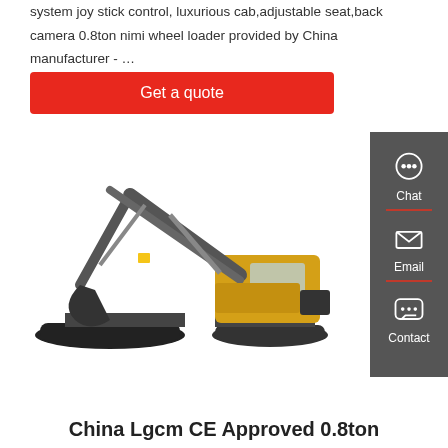system joy stick control, luxurious cab,adjustable seat,back camera 0.8ton nimi wheel loader provided by China manufacturer - …
Get a quote
[Figure (photo): Volvo branded yellow and grey tracked excavator on white background]
[Figure (infographic): Dark grey sidebar with Chat, Email, and Contact icons]
China Lgcm CE Approved 0.8ton